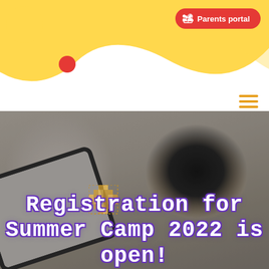Parents portal
[Figure (screenshot): Website header with yellow wave decoration, yellow circle, red dot, hamburger menu icon, and red Parents portal button]
[Figure (photo): Overhead photo of a tablet device, cup of coffee/tea, and decorative woven ball on a light surface, used as hero image background]
Registration for Summer Camp 2022 is open!